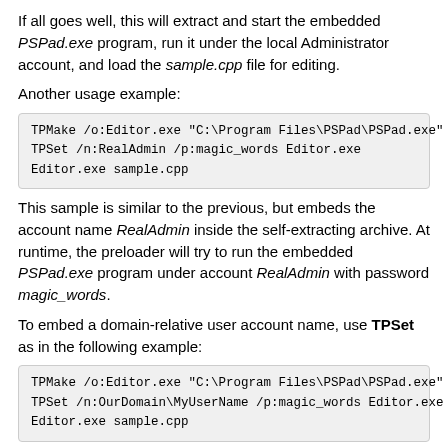If all goes well, this will extract and start the embedded PSPad.exe program, run it under the local Administrator account, and load the sample.cpp file for editing.
Another usage example:
TPMake /o:Editor.exe "C:\Program Files\PSPad\PSPad.exe"
TPSet /n:RealAdmin /p:magic_words Editor.exe
Editor.exe sample.cpp
This sample is similar to the previous, but embeds the account name RealAdmin inside the self-extracting archive. At runtime, the preloader will try to run the embedded PSPad.exe program under account RealAdmin with password magic_words.
To embed a domain-relative user account name, use TPSet as in the following example:
TPMake /o:Editor.exe "C:\Program Files\PSPad\PSPad.exe"
TPSet /n:OurDomain\MyUserName /p:magic_words Editor.exe
Editor.exe sample.cpp
This will use the user name MyUserName from the domain